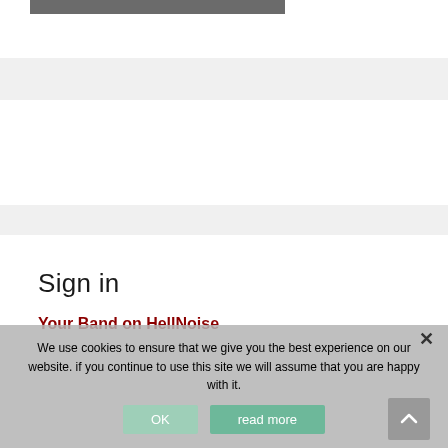[Figure (other): Gray horizontal image bar at top of page]
Sign in
Your Band on HellNoise
We use cookies to ensure that we give you the best experience on our website. if you continue to use this site we will assume that you are happy with it.
OK   read more